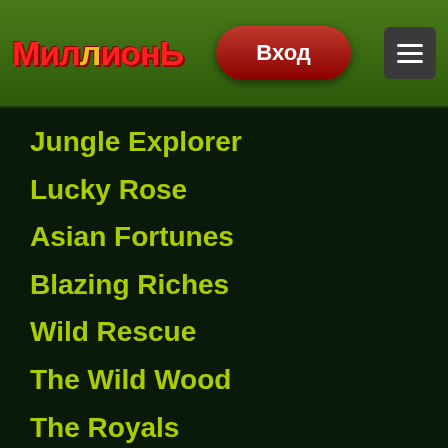МИЛЛИОНЬ — Вход
Jungle Explorer
Lucky Rose
Asian Fortunes
Blazing Riches
Wild Rescue
The Wild Wood
The Royals
Cops n Robbers Millionaires Row
Irish Coins